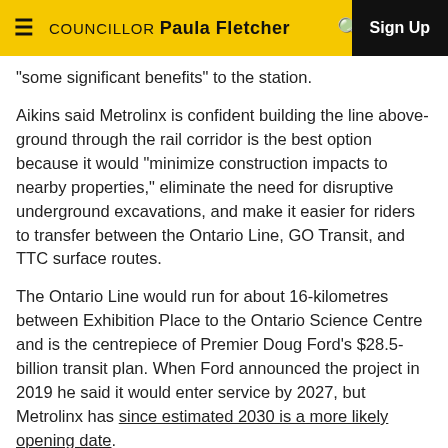COUNCILLOR Paula Fletcher
“some significant benefits” to the station.
Aikins said Metrolinx is confident building the line above-ground through the rail corridor is the best option because it would “minimize construction impacts to nearby properties,” eliminate the need for disruptive underground excavations, and make it easier for riders to transfer between the Ontario Line, GO Transit, and TTC surface routes.
The Ontario Line would run for about 16-kilometres between Exhibition Place to the Ontario Science Centre and is the centrepiece of Premier Doug Ford’s $28.5-billion transit plan. When Ford announced the project in 2019 he said it would enter service by 2027, but Metrolinx has since estimated 2030 is a more likely opening date.
https://www.thestar.com/news/gta/2021/03/26/metrolinx-